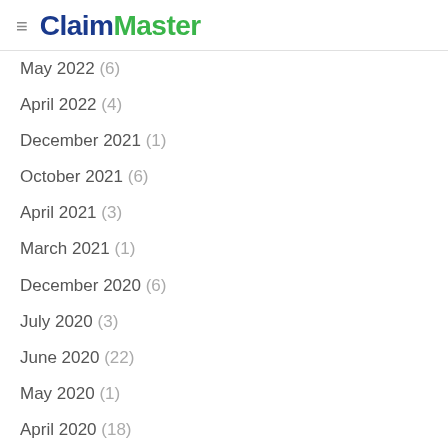ClaimMaster
May 2022 (6)
April 2022 (4)
December 2021 (1)
October 2021 (6)
April 2021 (3)
March 2021 (1)
December 2020 (6)
July 2020 (3)
June 2020 (22)
May 2020 (1)
April 2020 (18)
March 2020 (2)
December 2019 (1)
November 2019 (2)
October 2019 (4)